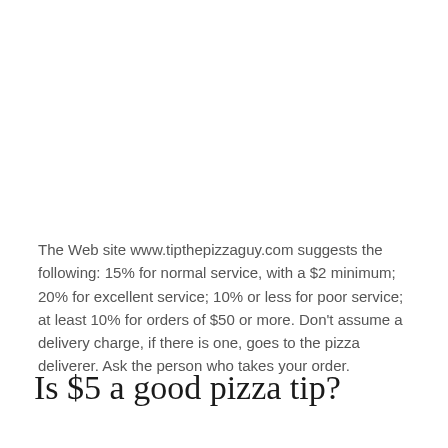The Web site www.tipthepizzaguy.com suggests the following: 15% for normal service, with a $2 minimum; 20% for excellent service; 10% or less for poor service; at least 10% for orders of $50 or more. Don't assume a delivery charge, if there is one, goes to the pizza deliverer. Ask the person who takes your order.
Is $5 a good pizza tip?